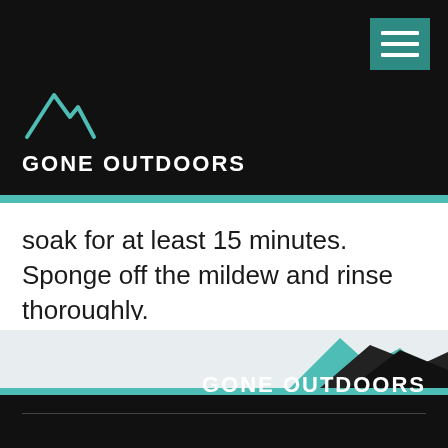[Figure (logo): Gone Outdoors logo with mountain peaks SVG icon and white bold text 'GONE OUTDOORS' on black background header]
soak for at least 15 minutes. Sponge off the mildew and rinse thoroughly.
REFERENCES    WRITER BIO
[Figure (logo): Gone Outdoors footer with mountain peaks illustration and 'GONE OUTDOORS' white bold text on black background]